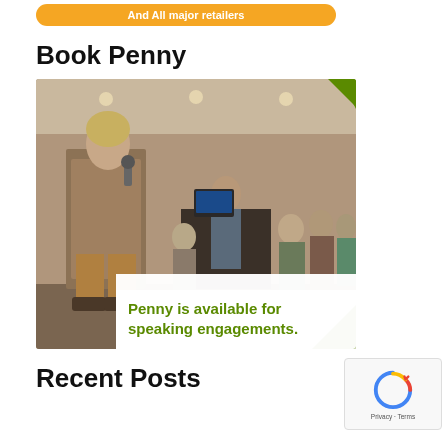And All major retailers
Book Penny
[Figure (photo): Woman in leopard print coat speaking into a microphone at a conference event, with audience and podium visible in background. Overlay text reads: Penny is available for speaking engagements.]
Recent Posts